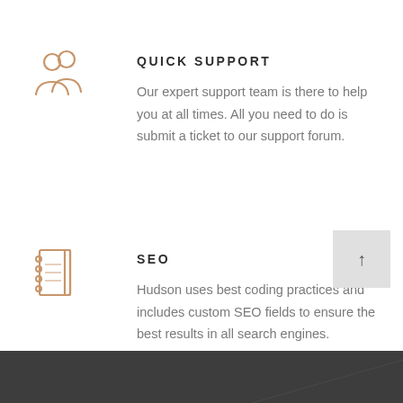[Figure (illustration): Quick support icon: two silhouette figures (people/users) drawn in a warm tan/brown outline style]
QUICK SUPPORT
Our expert support team is there to help you at all times. All you need to do is submit a ticket to our support forum.
[Figure (illustration): SEO icon: a notebook/journal with spiral binding on the left, drawn in warm tan/brown outline style]
SEO
Hudson uses best coding practices and includes custom SEO fields to ensure the best results in all search engines.